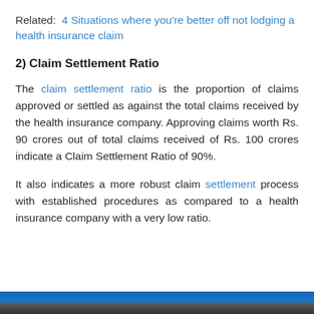Related: 4 Situations where you're better off not lodging a health insurance claim
2) Claim Settlement Ratio
The claim settlement ratio is the proportion of claims approved or settled as against the total claims received by the health insurance company. Approving claims worth Rs. 90 crores out of total claims received of Rs. 100 crores indicate a Claim Settlement Ratio of 90%.
It also indicates a more robust claim settlement process with established procedures as compared to a health insurance company with a very low ratio.
[Figure (photo): Bottom image strip showing a partial photo, with a blue and dark gradient band visible at the bottom of the page.]